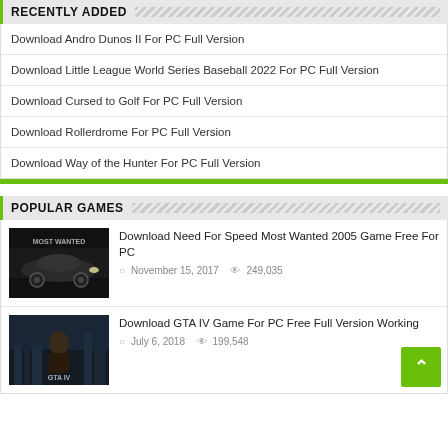RECENTLY ADDED
Download Andro Dunos II For PC Full Version
Download Little League World Series Baseball 2022 For PC Full Version
Download Cursed to Golf For PC Full Version
Download Rollerdrome For PC Full Version
Download Way of the Hunter For PC Full Version
POPULAR GAMES
Download Need For Speed Most Wanted 2005 Game Free For PC
November 15, 2017  249,035
Download GTA IV Game For PC Free Full Version Working
July 6, 2018  199,548